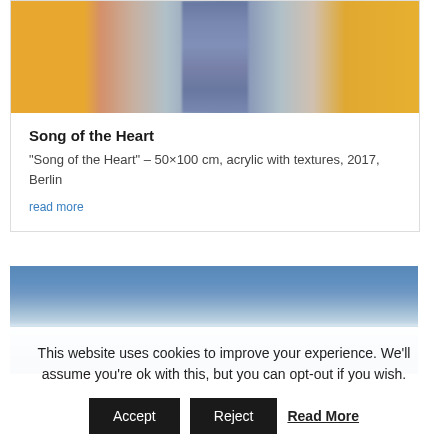[Figure (photo): Abstract painting with orange and blue vertical streaks — 'Song of the Heart', acrylic with textures]
Song of the Heart
“Song of the Heart” – 50×100 cm, acrylic with textures, 2017, Berlin
read more
[Figure (photo): Abstract painting with blue sky and horizon haze]
This website uses cookies to improve your experience. We’ll assume you’re ok with this, but you can opt-out if you wish.
Accept   Reject   Read More